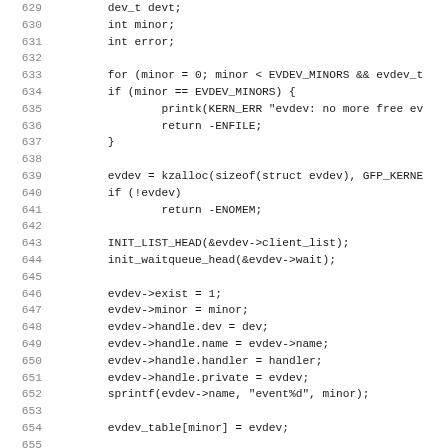[Figure (screenshot): Source code listing (C language) showing lines 629-661 of a Linux kernel evdev driver. Lines include variable declarations, for loop, kzalloc, INIT_LIST_HEAD, evdev structure field assignments, sprintf, evdev_table, MKDEV, and class_device_create calls.]